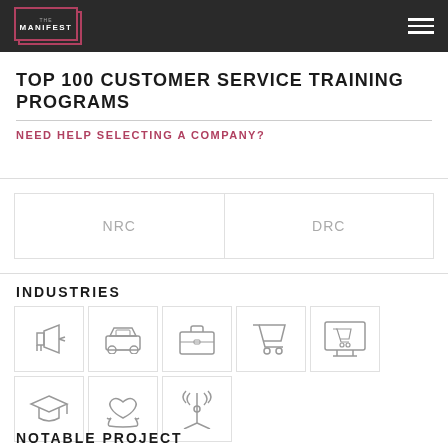THE MANIFEST
TOP 100 CUSTOMER SERVICE TRAINING PROGRAMS
NEED HELP SELECTING A COMPANY?
| NRC | DRC |
| --- | --- |
INDUSTRIES
[Figure (infographic): Eight industry icons in two rows: megaphone/marketing, car/automotive, briefcase/business, shopping cart/retail, monitor/e-commerce, graduation cap/education, heart-in-hands/nonprofit, antenna/telecom]
NOTABLE PROJECT